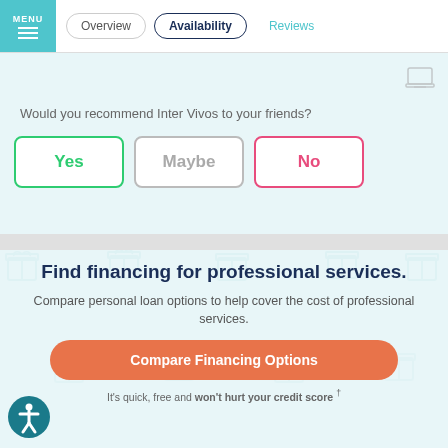MENU | Overview | Availability | Reviews
Would you recommend Inter Vivos to your friends?
Yes
Maybe
No
Find financing for professional services.
Compare personal loan options to help cover the cost of professional services.
Compare Financing Options
It's quick, free and won't hurt your credit score †